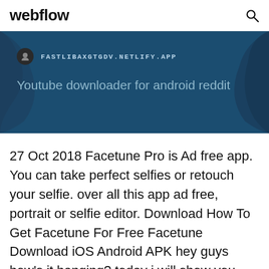webflow
[Figure (screenshot): Hero banner with dark blue background showing URL FASTLIBAXGTGDV.NETLIFY.APP and subtitle 'Youtube downloader for android reddit']
27 Oct 2018 Facetune Pro is Ad free app. You can take perfect selfies or retouch your selfie. over all this app ad free, portrait or selfie editor. Download How To Get Facetune For Free Facetune Download iOS Android APK hey guys how's it hanging? today i will show you